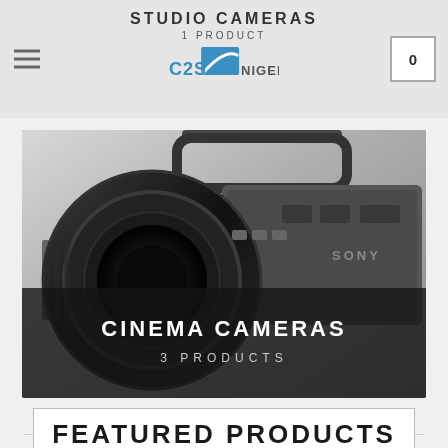STUDIO CAMERAS | 1 PRODUCT | C2S NIGERIA
[Figure (photo): Close-up photo of a Sony cinema camera with large lens, shown against a light background. Dark semi-transparent overlay at bottom with text.]
CINEMA CAMERAS
3 PRODUCTS
FEATURED PRODUCTS
[Figure (photo): Partial view of a broadcast/studio control panel or mixer device at bottom of page, with a wishlist heart icon button visible.]